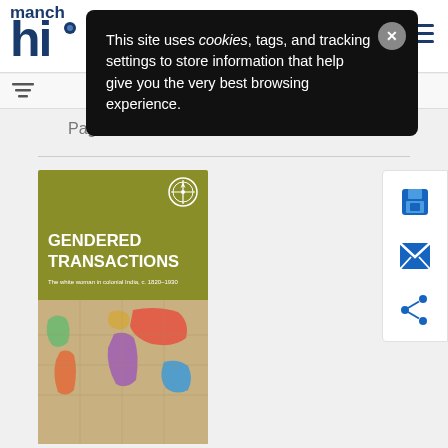manch hi (logo/header bar)
This site uses cookies, tags, and tracking settings to store information that help give you the very best browsing experience.
Page: 1 2 3 4
[Figure (illustration): Book cover for 'Gendered Transactions: The white woman in colonial India, c. 1820–1930' with olive/yellow-green background, white compass logo top right, bold white title text, and a colorful antique world map image on the lower portion]